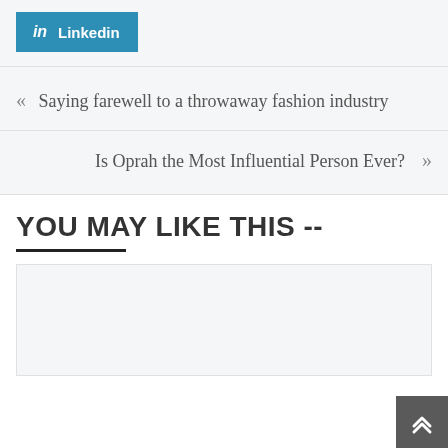[Figure (logo): LinkedIn share button with 'in' icon and 'Linkedin' text on teal/blue background]
« Saying farewell to a throwaway fashion industry
Is Oprah the Most Influential Person Ever? »
YOU MAY LIKE THIS --
[Figure (other): Empty card/image placeholder area]